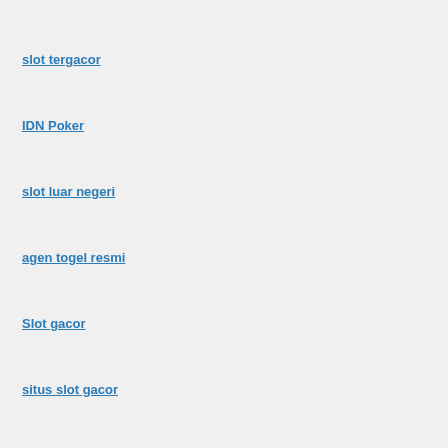slot tergacor
IDN Poker
slot luar negeri
agen togel resmi
Slot gacor
situs slot gacor